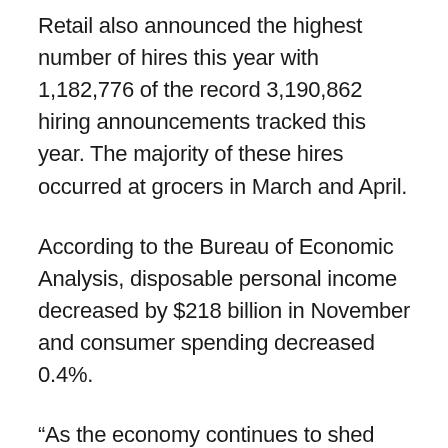Retail also announced the highest number of hires this year with 1,182,776 of the record 3,190,862 hiring announcements tracked this year. The majority of these hires occurred at grocers in March and April.
According to the Bureau of Economic Analysis, disposable personal income decreased by $218 billion in November and consumer spending decreased 0.4%.
“As the economy continues to shed jobs with hundreds of thousands of initial jobless claims each week, consumer spending will continue to drop. Retail and leisure activities will suffer further, especially before widespread